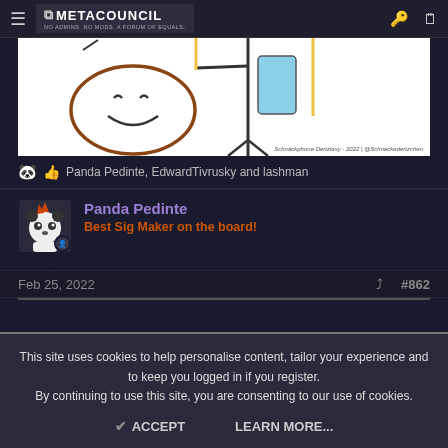METACOUNCIL — NO ADMINS. NO MODS. A FORUM OF EQUALS.
[Figure (illustration): Hand-drawn stick figure illustration with a smiling oval head (brown outline), black stick body, and a light blue rectangle (phone). Watermark reads: Schnackphone Dertzlaxy - 2022 | @Schneckedertzchen]
Panda Pedinte, EdwardTivrusky and lashman
Panda Pedinte
Best Sig Maker on the board!
Feb 25, 2022
#862
This site uses cookies to help personalise content, tailor your experience and to keep you logged in if you register.
By continuing to use this site, you are consenting to our use of cookies.
ACCEPT
LEARN MORE...